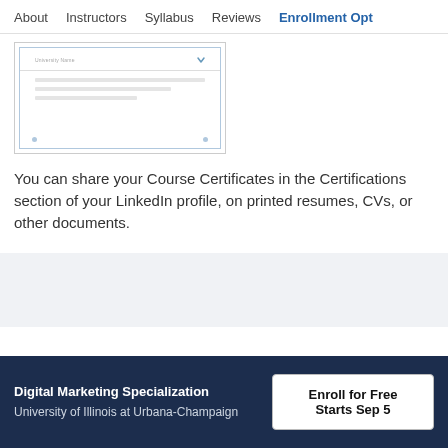About   Instructors   Syllabus   Reviews   Enrollment Opt
[Figure (screenshot): Partial view of a course certificate with a light blue border, showing a dropdown field labeled 'University Name' and a chevron icon, with placeholder lines and two small blue dots at the bottom.]
You can share your Course Certificates in the Certifications section of your LinkedIn profile, on printed resumes, CVs, or other documents.
Digital Marketing Specialization
University of Illinois at Urbana-Champaign
Enroll for Free
Starts Sep 5